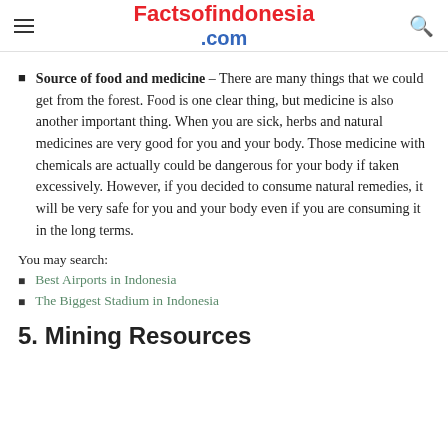Factsofindonesia.com
Source of food and medicine – There are many things that we could get from the forest. Food is one clear thing, but medicine is also another important thing. When you are sick, herbs and natural medicines are very good for you and your body. Those medicine with chemicals are actually could be dangerous for your body if taken excessively. However, if you decided to consume natural remedies, it will be very safe for you and your body even if you are consuming it in the long terms.
You may search:
Best Airports in Indonesia
The Biggest Stadium in Indonesia
5. Mining Resources